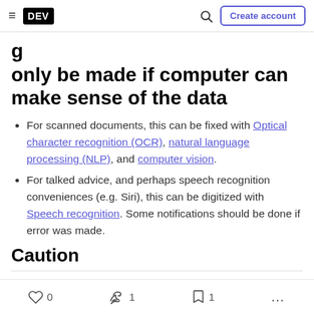DEV | Create account
only be made if computer can make sense of the data
For scanned documents, this can be fixed with Optical character recognition (OCR), natural language processing (NLP), and computer vision.
For talked advice, and perhaps speech recognition conveniences (e.g. Siri), this can be digitized with Speech recognition. Some notifications should be done if error was made.
Caution
0  1  1  ...